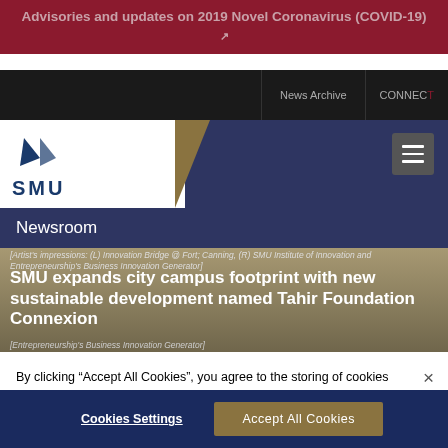Advisories and updates on 2019 Novel Coronavirus (COVID-19)
[Figure (screenshot): SMU university website header with logo, navigation bar showing News Archive and Connect links, dark navy background with hamburger menu icon]
Newsroom
SMU expands city campus footprint with new sustainable development named Tahir Foundation Connexion
[Artist's impressions: (L) Innovation Bridge @ Fort; Canning, (R) SMU Institute of Innovation and Entrepreneurship's Business Innovation Generator]
By clicking “Accept All Cookies”, you agree to the storing of cookies on your device to enhance site navigation, analyse site usage, and assist in our marketing efforts. You can change your cookies settings at any time. See all website cookies.
Cookies Settings
Accept All Cookies